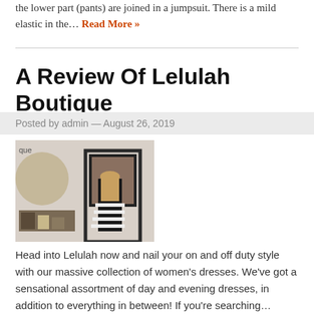the lower part (pants) are joined in a jumpsuit. There is a mild elastic in the… Read More »
A Review Of Lelulah Boutique
Posted by admin — August 26, 2019
[Figure (photo): Woman with long hair viewed from behind, wearing a black top and striped skirt, standing in front of a mirror in a boutique store. Shelving and decor visible on the left.]
Head into Lelulah now and nail your on and off duty style with our massive collection of women's dresses. We've got a sensational assortment of day and evening dresses, in addition to everything in between! If you're searching… Read More »